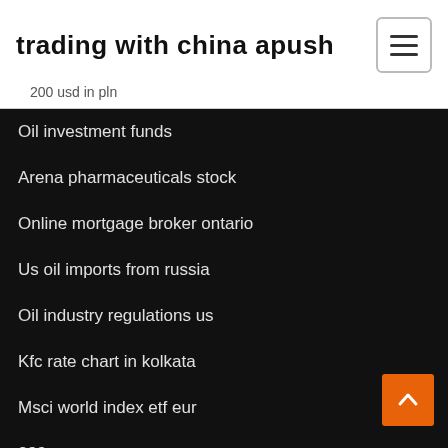trading with china apush
200 usd in pln
Oil investment funds
Arena pharmaceuticals stock
Online mortgage broker ontario
Us oil imports from russia
Oil industry regulations us
Kfc rate chart in kolkata
Msci world index etf eur
289